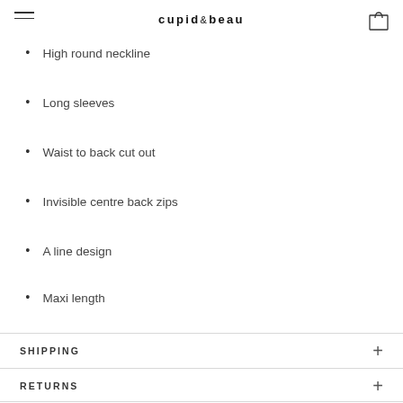cupid & beau
High round neckline
Long sleeves
Waist to back cut out
Invisible centre back zips
A line design
Maxi length
SHIPPING
RETURNS
REVIEWS (0)